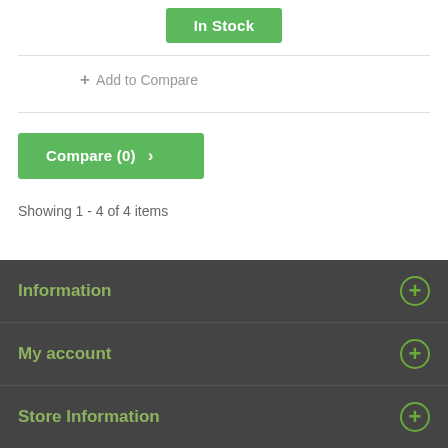In Stock
+ Add to Compare
Compare (0) >
Showing 1 - 4 of 4 items
Information
My account
Store Information